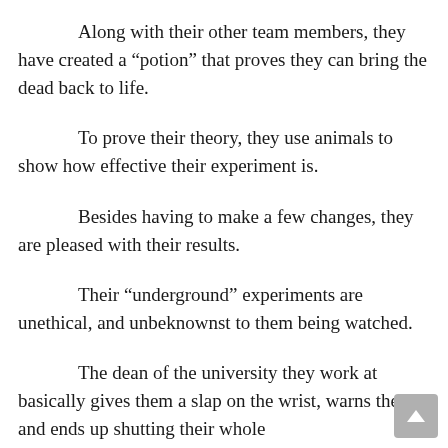Along with their other team members, they have created a “potion” that proves they can bring the dead back to life.
To prove their theory, they use animals to show how effective their experiment is.
Besides having to make a few changes, they are pleased with their results.
Their “underground” experiments are unethical, and unbeknownst to them being watched.
The dean of the university they work at basically gives them a slap on the wrist, warns them, and ends up shutting their whole